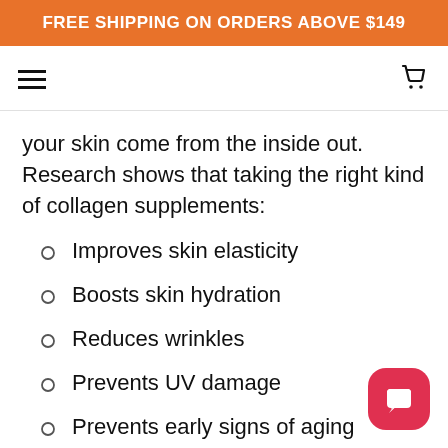FREE SHIPPING ON ORDERS ABOVE $149
your skin come from the inside out. Research shows that taking the right kind of collagen supplements:
Improves skin elasticity
Boosts skin hydration
Reduces wrinkles
Prevents UV damage
Prevents early signs of aging
Diminishes roughness of facial skin